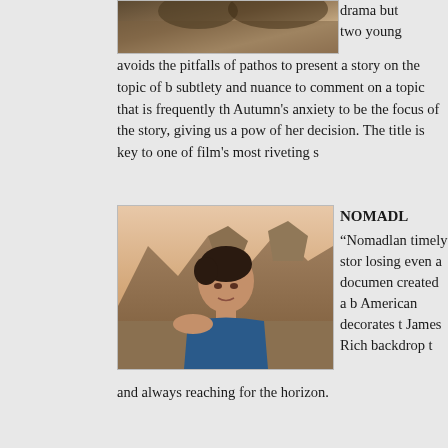[Figure (photo): Partial photograph at top of page, cropped]
drama but two young avoids the pitfalls of pathos to present a story on the topic of b subtlety and nuance to comment on a topic that is frequently th Autumn's anxiety to be the focus of the story, giving us a pow of her decision. The title is key to one of film's most riveting s
[Figure (photo): Woman with short dark hair in blue shirt standing in front of rocky badlands landscape]
NOMADL
“Nomadlan timely stor losing even a documen created a b American decorates t James Rich backdrop t
and always reaching for the horizon.